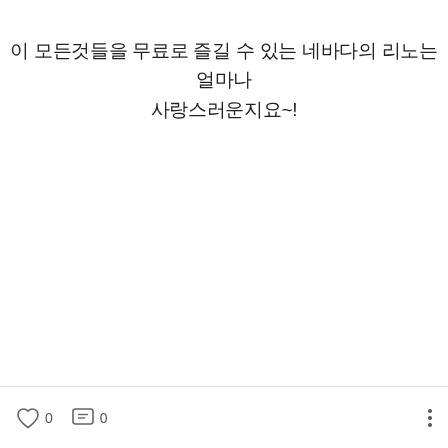이 모든것들을 무료로 즐길 수 있는 네바다의 리노는 얼마나 사랑스러운지요~!
0 likes  0 comments